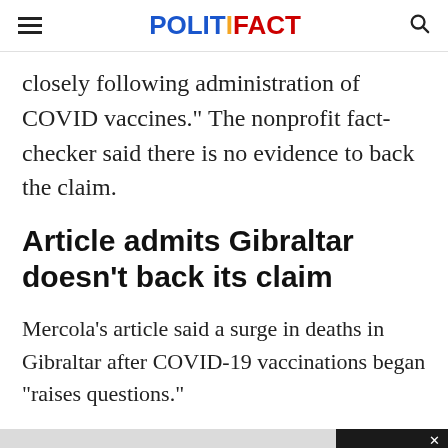POLITIFACT
closely following administration of COVID vaccines." The nonprofit fact-checker said there is no evidence to back the claim.
Article admits Gibraltar doesn’t back its claim
Mercola’s article said a surge in deaths in Gibraltar after COVID-19 vaccinations began "raises questions."
The article said Gibraltar, the British overseas territory on the southern coast of Spain, had